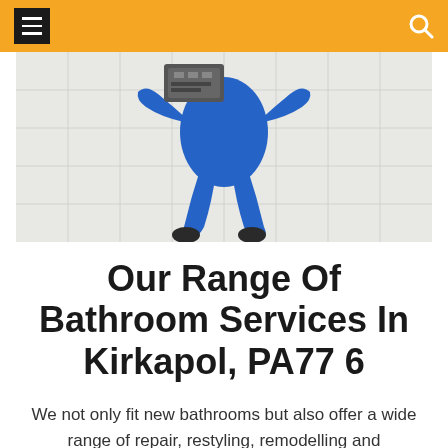≡  🔍
[Figure (photo): Overhead view of a plumber in blue overalls and black boots working on white tiled floor with equipment nearby]
Our Range Of Bathroom Services In Kirkapol, PA77 6
We not only fit new bathrooms but also offer a wide range of repair, restyling, remodelling and